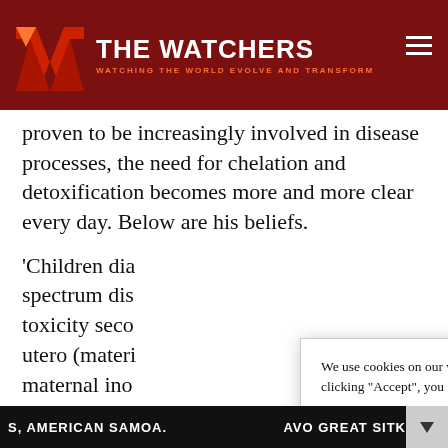THE WATCHERS — WATCHING THE WORLD EVOLVE AND TRANSFORM
proven to be increasingly involved in disease processes, the need for chelation and detoxification becomes more and more clear every day. Below are his beliefs.
'Children dia spectrum dis toxicity seco utero (mater maternal ino etc.) and ear preserved wi diagnosed wi
We use cookies on our website to give you the most relevant experience by remembering your preferences and repeat visits. By clicking “Accept”, you consent to the use of ALL the cookies. Do not sell my personal information.
S, AMERICAN SAMOA.     AVO GREAT SITK